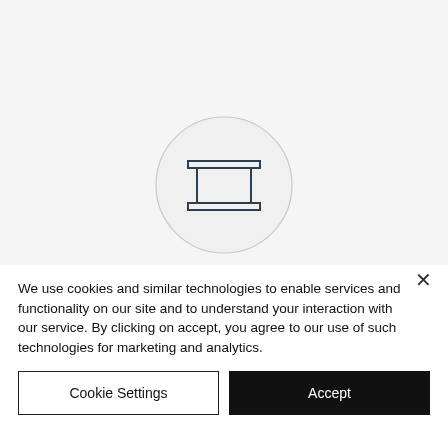[Figure (logo): A circular logo containing a stylized square/table shape in dark blue-gray, resembling an I-beam cross-section or architectural table form, on a light gray background.]
We use cookies and similar technologies to enable services and functionality on our site and to understand your interaction with our service. By clicking on accept, you agree to our use of such technologies for marketing and analytics.
Cookie Settings
Accept